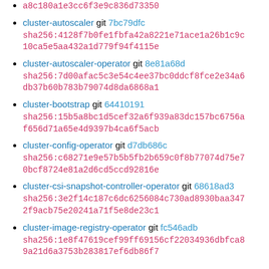a8c180a1e3cc6f3e9c836d73350 (sha fragment)
cluster-autoscaler git 7bc79dfc sha256:4128f7b0fe1fbfa42a8221e71ace1a26b1c9c10ca5e5aa432a1d779f94f4115e
cluster-autoscaler-operator git 8e81a68d sha256:7d00afac5c3e54c4ee37bc0ddcf8fce2e34a6db37b60b783b79074d8da6868a1
cluster-bootstrap git 64410191 sha256:15b5a8bc1d5cef32a6f939a83dc157bc6756af656d71a65e4d9397b4ca6f5acb
cluster-config-operator git d7db686c sha256:c68271e9e57b5b5fb2b659c0f8b77074d75e70bcf8724e81a2d6cd5ccd92816e
cluster-csi-snapshot-controller-operator git 68618ad3 sha256:3e2f14c187c6dc6256084c730ad8930baa3472f9acb75e20241a71f5e8de23c1
cluster-image-registry-operator git fc546adb sha256:1e8f47619cef99ff69156cf22034936dbfca89a21d6a3753b283817ef6db86f7